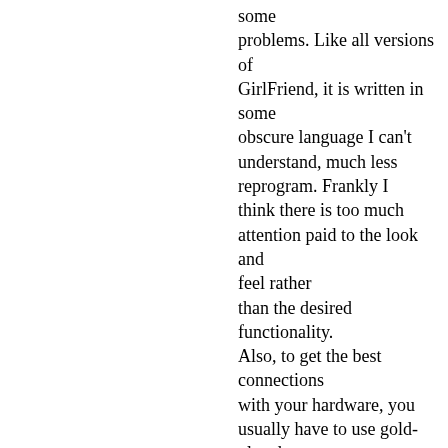some problems. Like all versions of GirlFriend, it is written in some obscure language I can't understand, much less reprogram. Frankly I think there is too much attention paid to the look and feel rather than the desired functionality. Also, to get the best connections with your hardware, you usually have to use gold-plated contacts. And I've never liked how GirlFriend is totally "object-oriented."

A year ago, a friend of mine upgraded his version of GirlFriend to GirlFriendPlus 1.0, which is a Terminate and Stay Resident